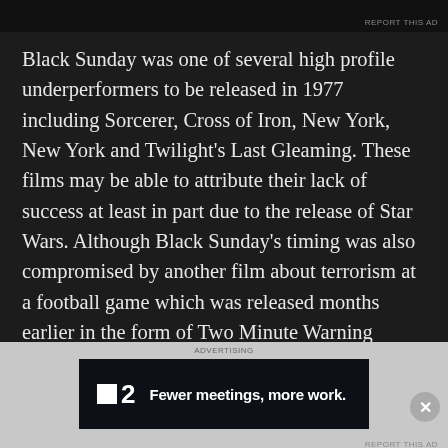REPORT THIS AD
Black Sunday was one of several high profile underperformers to be released in 1977 including Sorcerer, Cross of Iron, New York, New York and Twilight’s Last Gleaming. These films may be able to attribute their lack of success at least in part due to the release of Star Wars. Although Black Sunday’s timing was also compromised by another film about terrorism at a football game which was released months earlier in the form of Two Minute Warning starring Charlton Heston – a poor
[Figure (other): Advertisement banner for Fewer meetings, more work with a logo showing a square and the number 2]
REPORT THIS AD